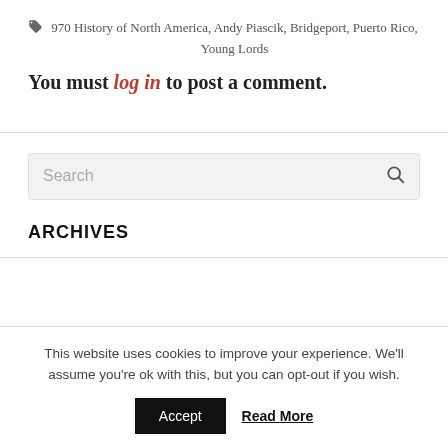🏷 970 History of North America, Andy Piascik, Bridgeport, Puerto Rico, Young Lords
You must log in to post a comment.
[Figure (other): Search input box with placeholder text 'Search' and a search icon on the right]
ARCHIVES
This website uses cookies to improve your experience. We'll assume you're ok with this, but you can opt-out if you wish. Accept  Read More